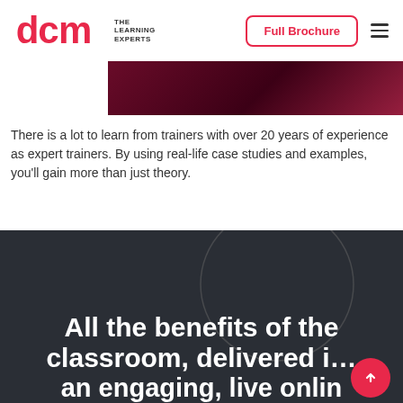DCM THE LEARNING EXPERTS | Full Brochure
[Figure (photo): Dark reddish-maroon image strip showing people in a training/classroom setting, partially visible at the top of the page]
There is a lot to learn from trainers with over 20 years of experience as expert trainers. By using real-life case studies and examples, you'll gain more than just theory.
All the benefits of the classroom, delivered in an engaging, live online